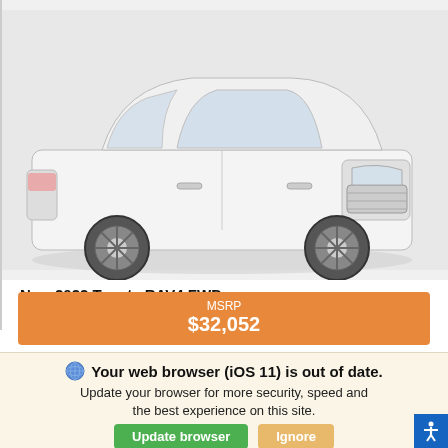[Figure (photo): White Toyota RAV4 FWD SUV shown from a front three-quarter angle on a light gray background]
New 2022 Toyota RAV4 FWD
XLE SUV Sport Utility 8-Speed Automatic w/OD
MSRP
$32,052
Your web browser (iOS 11) is out of date. Update your browser for more security, speed and the best experience on this site.
Update browser
Ignore